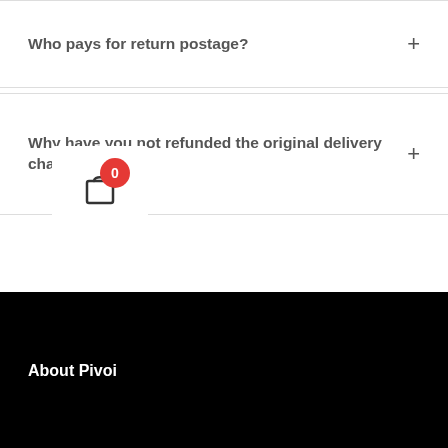Who pays for return postage? +
Why have you not refunded the original delivery charge? +
[Figure (screenshot): Shopping cart widget with badge showing 0 items, white card with bag icon on black footer background]
About Pivoi